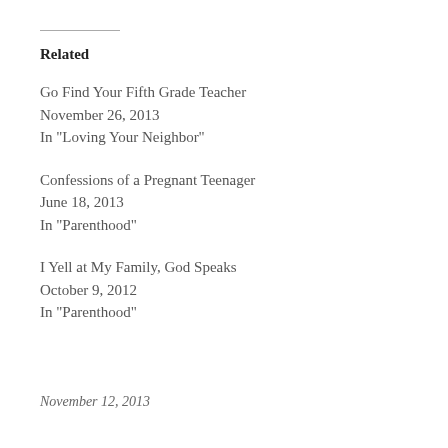Related
Go Find Your Fifth Grade Teacher
November 26, 2013
In "Loving Your Neighbor"
Confessions of a Pregnant Teenager
June 18, 2013
In "Parenthood"
I Yell at My Family, God Speaks
October 9, 2012
In "Parenthood"
November 12, 2013